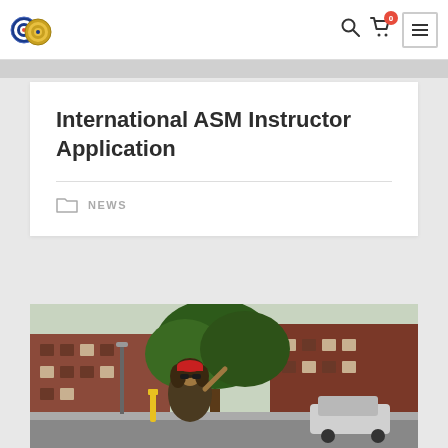International ASM Instructor Application — website navigation header with logo, search, cart (0), and menu icons
International ASM Instructor Application
NEWS
[Figure (photo): Outdoor street photo of a person with long hair wearing a red bandana/cap and sunglasses, making a peace sign, standing in front of trees, parked cars, and brick buildings]